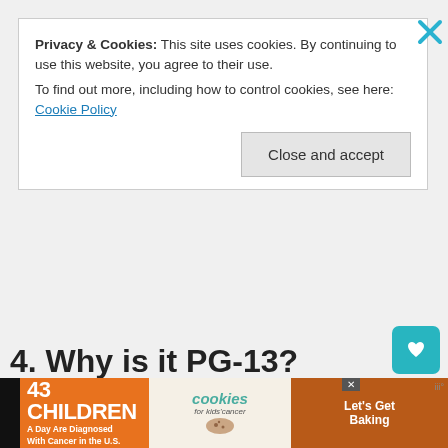Privacy & Cookies: This site uses cookies. By continuing to use this website, you agree to their use.
To find out more, including how to control cookies, see here: Cookie Policy
Close and accept
[Figure (screenshot): Gray empty content area of a webpage]
[Figure (infographic): Teal bookmark/heart icon button on right side]
[Figure (infographic): Share icon button (circular, white)]
4. Why is it PG-13?
For ... minor
[Figure (screenshot): Advertisement banner: '43 Children A Day Are Diagnosed With Cancer in the U.S.' with cookies for kids' cancer logo and Let's Get Baking button]